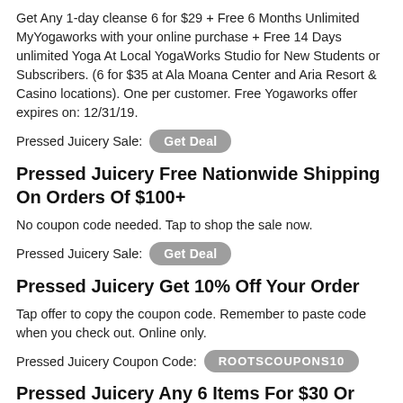Get Any 1-day cleanse 6 for $29 + Free 6 Months Unlimited MyYogaworks with your online purchase + Free 14 Days unlimited Yoga At Local YogaWorks Studio for New Students or Subscribers. (6 for $35 at Ala Moana Center and Aria Resort & Casino locations). One per customer. Free Yogaworks offer expires on: 12/31/19.
Pressed Juicery Sale: Get Deal
Pressed Juicery Free Nationwide Shipping On Orders Of $100+
No coupon code needed. Tap to shop the sale now.
Pressed Juicery Sale: Get Deal
Pressed Juicery Get 10% Off Your Order
Tap offer to copy the coupon code. Remember to paste code when you check out. Online only.
Pressed Juicery Coupon Code: ROOTSCOUPONS10
Pressed Juicery Any 6 Items For $30 Or Any 2 Items For $12